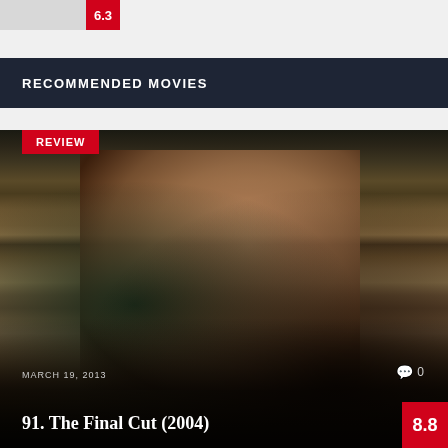[Figure (screenshot): Top score card thumbnail strip showing a gray thumbnail image and a red box with score 6.3]
RECOMMENDED MOVIES
[Figure (photo): Movie review card for '91. The Final Cut (2004)' dated March 19, 2013 with score 8.8. Shows a close-up photo of a middle-aged man with dark hair wearing a brown jacket, with a REVIEW badge in top-left corner.]